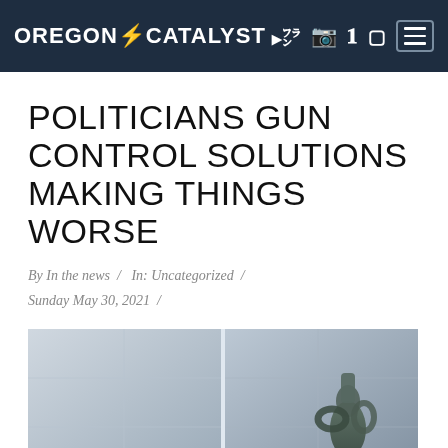OREGON CATALYST
POLITICIANS GUN CONTROL SOLUTIONS MAKING THINGS WORSE
By In the news / In: Uncategorized / Sunday May 30, 2021 /
[Figure (photo): A sculpture resembling a knotted gun barrel in front of a large building facade with gridded stone panels, photographed in black and white / desaturated tones.]